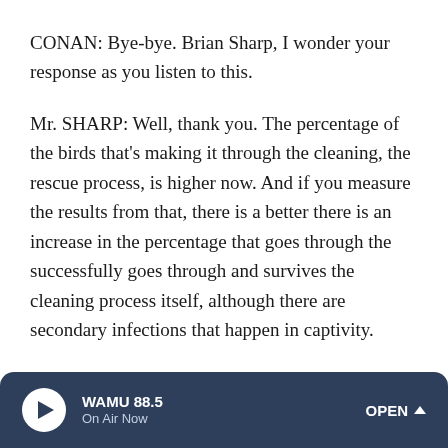CONAN: Bye-bye. Brian Sharp, I wonder your response as you listen to this.
Mr. SHARP: Well, thank you. The percentage of the birds that's making it through the cleaning, the rescue process, is higher now. And if you measure the results from that, there is a better there is an increase in the percentage that goes through the successfully goes through and survives the cleaning process itself, although there are secondary infections that happen in captivity.
And so you cannot keep them very long before you have to release them because of other infections that they get. So they do come out of the cleaning process, though, impaired. I
WAMU 88.5  On Air Now  OPEN